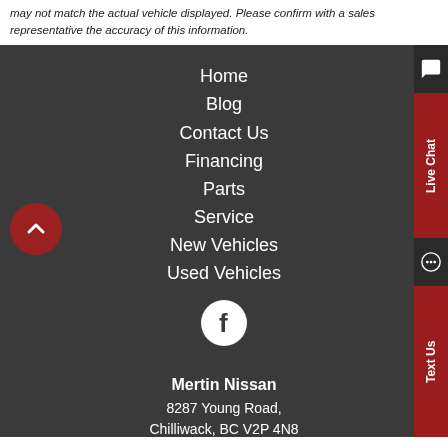may not match the actual vehicle displayed. Please confirm with a sales representative the accuracy of this information.
Home
Blog
Contact Us
Financing
Parts
Service
New Vehicles
Used Vehicles
[Figure (illustration): Facebook icon - white letter f on white circle background]
Mertin Nissan
8287 Young Road,
Chilliwack, BC V2P 4N8